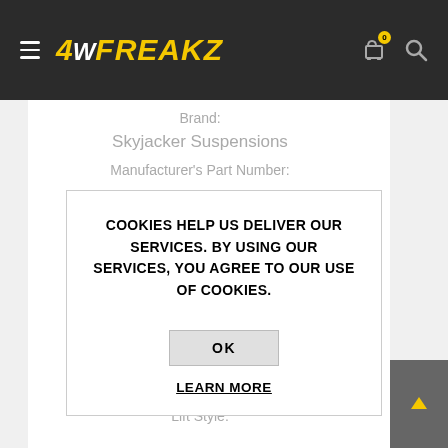4WFreakz navigation bar with hamburger menu, logo, cart and search icons
Brand:
Skyjacker Suspensions
Manufacturer's Part Number:
COOKIES HELP US DELIVER OUR SERVICES. BY USING OUR SERVICES, YOU AGREE TO OUR USE OF COOKIES.
OK
LEARN MORE
59A-G552KBEI
Lift Style:
Suspension Lift Kit
Primary Front Lift Component:
Coil spring
Primary Rear Lift Component: